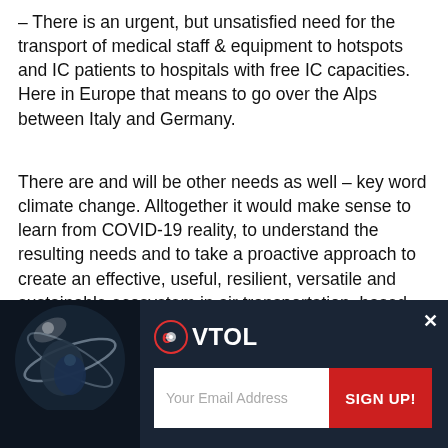– There is an urgent, but unsatisfied need for the transport of medical staff & equipment to hotspots and IC patients to hospitals with free IC capacities. Here in Europe that means to go over the Alps between Italy and Germany.
There are and will be other needs as well – key word climate change. Alltogether it would make sense to learn from COVID-19 reality, to understand the resulting needs and to take a proactive approach to create an effective, useful, resilient, versatile and sustainable ecosystem in air transportation, based on modular eVTOL aircraft.
[Figure (screenshot): eVTOL newsletter signup advertisement banner with dark navy background, aircraft image on left, eVTOL logo with red circle icon, email input field and red SIGN UP! button]